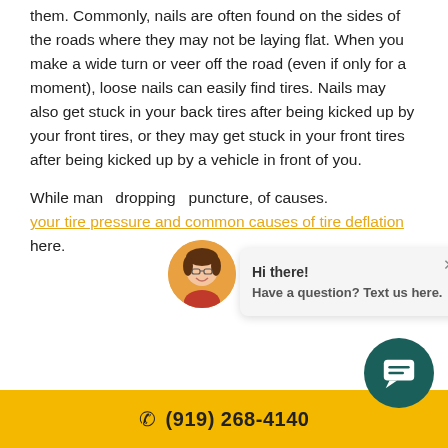them. Commonly, nails are often found on the sides of the roads where they may not be laying flat. When you make a wide turn or veer off the road (even if only for a moment), loose nails can easily find tires. Nails may also get stuck in your back tires after being kicked up by your front tires, or they may get stuck in your front tires after being kicked up by a vehicle in front of you.
While many... dropping... puncture,... of causes. your tire pressure and common causes of tire deflation here.
[Figure (other): Chat popup with avatar photo of a woman with glasses, text reading 'Hi there! Have a question? Text us here.' with a close X button]
(919) 268-4140